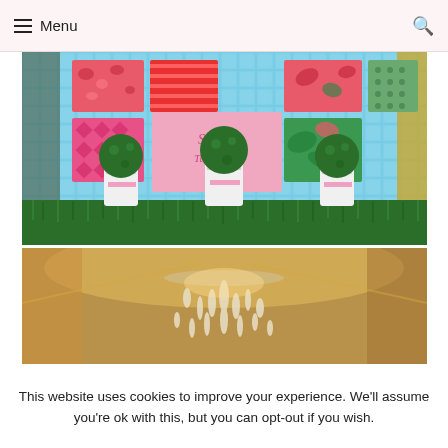≡ Menu
[Figure (photo): Party backdrop with light blue checkered pattern, colorful fabric squares pinned to it including pink, red, and tropical prints, a pink sign reading 'Sabine Turns One', and three white bucket planters with round topiary balls and pink ribbons, sitting on an artificial grass mat.]
[Figure (photo): Close-up of a crystal chandelier hanging from a warm-lit ceiling with golden ambient lighting.]
This website uses cookies to improve your experience. We'll assume you're ok with this, but you can opt-out if you wish.